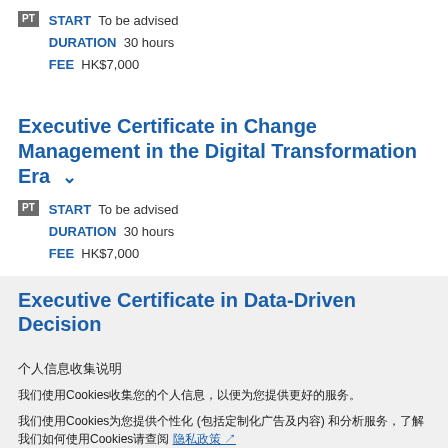PT  START  To be advised
DURATION  30 hours
FEE  HK$7,000
Executive Certificate in Change Management in the Digital Transformation Era
PT  START  To be advised
DURATION  30 hours
FEE  HK$7,000
Executive Certificate in Data-Driven Decision
Cookie notice and consent text (Chinese characters placeholder)
Cookie policy link and button